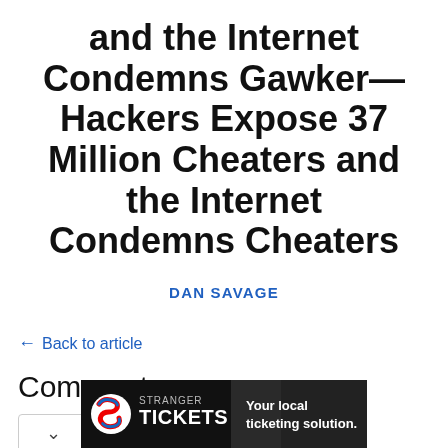and the Internet Condemns Gawker—Hackers Expose 37 Million Cheaters and the Internet Condemns Cheaters
DAN SAVAGE
← Back to article
Comments
[Figure (screenshot): Stranger Tickets ad banner — Your local ticketing solution.]